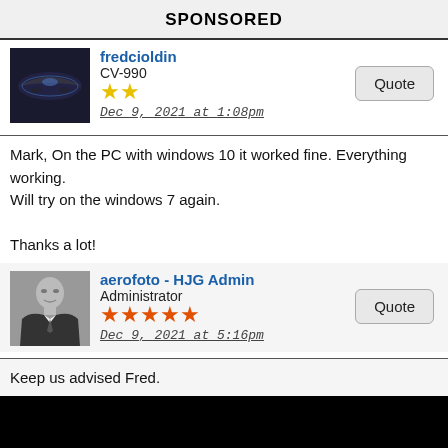SPONSORED
fredcioldin
CV-990
★★
Dec 9, 2021 at 1:08pm
Mark, On the PC with windows 10 it worked fine. Everything working.
Will try on the windows 7 again.

Thanks a lot!
aerofoto - HJG Admin
Administrator
★★★★★
Dec 9, 2021 at 5:16pm
Keep us advised Fred.

If those files are working fine within a WIN 10 environment then there's absolutely no reason why they shouldn't work equally fine within WIN 7 also.